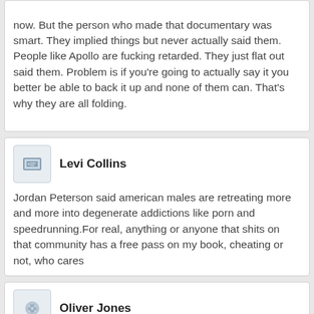now. But the person who made that documentary was smart. They implied things but never actually said them. People like Apollo are fucking retarded. They just flat out said them. Problem is if you're going to actually say it you better be able to back it up and none of them can. That's why they are all folding.
Levi Collins
Jordan Peterson said american males are retreating more and more into degenerate addictions like porn and speedrunning.For real, anything or anyone that shits on that community has a free pass on my book, cheating or not, who cares
Oliver Jones
>>523547291Are you talking about the dragster guy? Pretty sure he fought hard to keep those scores up, even having a man on the inside